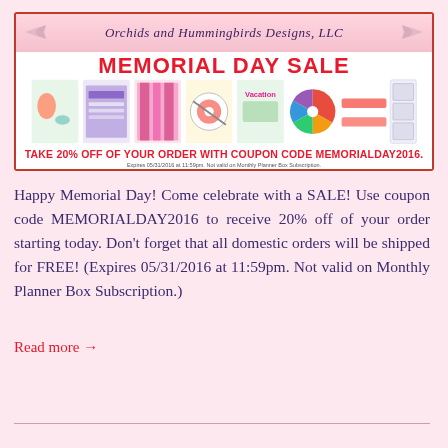[Figure (infographic): Orchids and Hummingbirds Designs, LLC Memorial Day Sale banner. Shows store name in cursive at top, large bold red 'MEMORIAL DAY SALE' text, a strip of product images (sea creatures, planner, purple curtains, washi tape, vacation items, colorwheel, washi tape strip, stamp set), and coupon text 'TAKE 20% OFF OF YOUR ORDER WITH COUPON CODE MEMORIALDAY2016.' with expiry fine print below.]
Happy Memorial Day!  Come celebrate with a SALE!  Use coupon code MEMORIALDAY2016 to receive 20% off of your order starting today.  Don't forget that all domestic orders will be shipped for FREE! (Expires 05/31/2016 at 11:59pm.  Not valid on Monthly Planner Box Subscription.)
Read more →